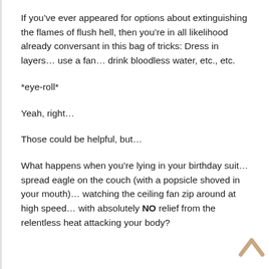If you've ever appeared for options about extinguishing the flames of flush hell, then you're in all likelihood already conversant in this bag of tricks: Dress in layers… use a fan… drink bloodless water, etc., etc.
*eye-roll*
Yeah, right…
Those could be helpful, but…
What happens when you're lying in your birthday suit… spread eagle on the couch (with a popsicle shoved in your mouth)… watching the ceiling fan zip around at high speed… with absolutely NO relief from the relentless heat attacking your body?